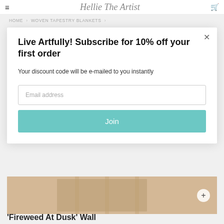≡  Hellie The Artist  🛒
HOME › WOVEN TAPESTRY BLANKETS ›
Live Artfully! Subscribe for 10% off your first order
Your discount code will be e-mailed to you instantly
Email address
Join
[Figure (photo): Product photo of a woven wall hanging, partially visible behind the modal]
'Fireweed At Dusk' Wall